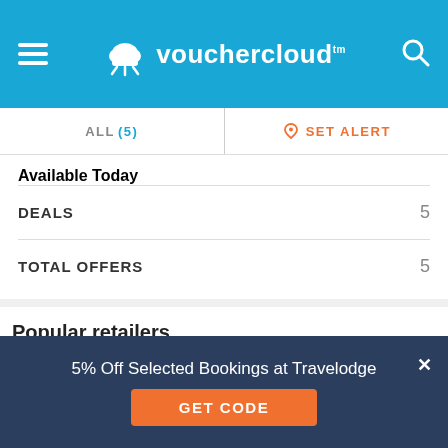vouchercloud
ALL (5) | SET ALERT
Available Today
| Category | Count |
| --- | --- |
| DEALS | 5 |
| TOTAL OFFERS | 5 |
Popular retailers
Amazon
ao.com
Argos
ASOS
Debenhams
First Choice
GAME
H.Samuel
John Lewis & Partners
Just Eat
NOW
5% Off Selected Bookings at Travelodge
GET CODE